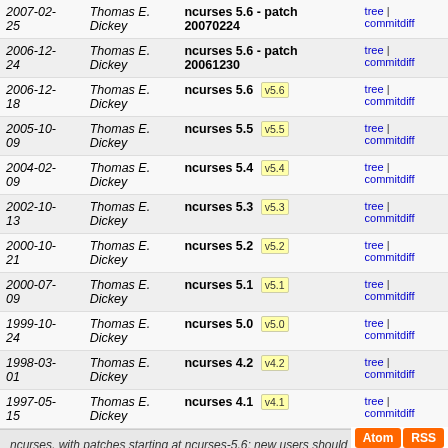| Date | Author | Subject | Links |
| --- | --- | --- | --- |
| 2007-02-25 | Thomas E. Dickey | ncurses 5.6 - patch 20070224 | tree | commitdiff |
| 2006-12-24 | Thomas E. Dickey | ncurses 5.6 - patch 20061230 | tree | commitdiff |
| 2006-12-18 | Thomas E. Dickey | ncurses 5.6 v5.6 | tree | commitdiff |
| 2005-10-09 | Thomas E. Dickey | ncurses 5.5 v5.5 | tree | commitdiff |
| 2004-02-09 | Thomas E. Dickey | ncurses 5.4 v5.4 | tree | commitdiff |
| 2002-10-13 | Thomas E. Dickey | ncurses 5.3 v5.3 | tree | commitdiff |
| 2000-10-21 | Thomas E. Dickey | ncurses 5.2 v5.2 | tree | commitdiff |
| 2000-07-09 | Thomas E. Dickey | ncurses 5.1 v5.1 | tree | commitdiff |
| 1999-10-24 | Thomas E. Dickey | ncurses 5.0 v5.0 | tree | commitdiff |
| 1998-03-01 | Thomas E. Dickey | ncurses 4.2 v4.2 | tree | commitdiff |
| 1997-05-15 | Thomas E. Dickey | ncurses 4.1 v4.1 | tree | commitdiff |
ncurses, with patches starting at ncurses-5.6; new users should use https://github.com/ThomasDickey/ncurses-snapshots/